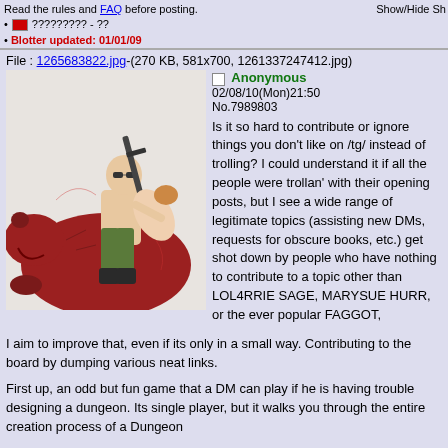Read the rules and FAQ before posting. ????????? - ?? Blotter updated: 01/01/09   Show/Hide Sh
File : 1265683822.jpg-(270 KB, 581x700, 1261337247412.jpg)
[Figure (illustration): Illustration of a bald man with sunglasses holding a rifle, riding a large red bear, with a woman draped over his arm.]
Anonymous
02/08/10(Mon)21:50
No.7989803

Is it so hard to contribute or ignore things you don't like on /tg/ instead of trolling? I could understand it if all the people were trollan' with their opening posts, but I see a wide range of legitimate topics (assisting new DMs, requests for obscure books, etc.) get shot down by people who have nothing to contribute to a topic other than LOL4RRIE SAGE, MARYSUE HURR, or the ever popular FAGGOT,
I aim to improve that, even if its only in a small way. Contributing to the board by dumping various neat links.
First up, an odd but fun game that a DM can play if he is having trouble designing a dungeon. Its single player, but it walks you through the entire creation process of a Dungeon